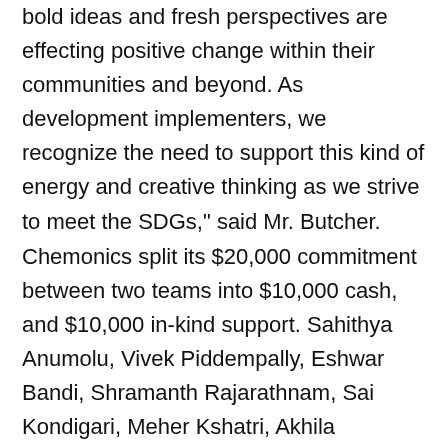bold ideas and fresh perspectives are effecting positive change within their communities and beyond. As development implementers, we recognize the need to support this kind of energy and creative thinking as we strive to meet the SDGs," said Mr. Butcher.
Chemonics split its $20,000 commitment between two teams into $10,000 cash, and $10,000 in-kind support. Sahithya Anumolu, Vivek Piddempally, Eshwar Bandi, Shramanth Rajarathnam, Sai Kondigari, Meher Kshatri, Akhila Nookala, and Nagesh Jogi accepted half of the award on behalf of Inqui-Lab Foundation, an Indian non-profit that supports design thinking for